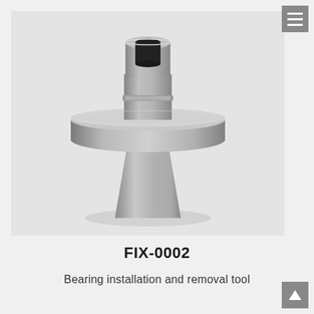[Figure (photo): A metallic bearing installation and removal tool. The tool has a cylindrical shape with a wide flanged disc in the middle, a hollow cylindrical top section, and a tapered bottom section. Made of brushed stainless steel or similar metal. Photographed against a light grey background.]
FIX-0002
Bearing installation and removal tool